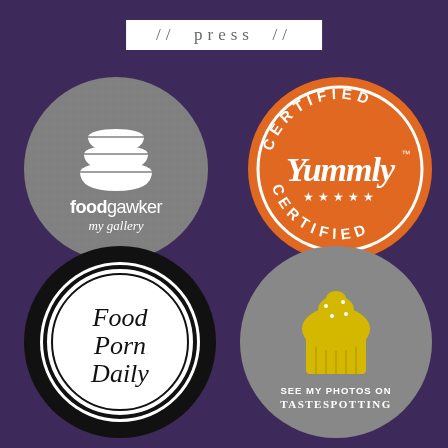// press //
[Figure (logo): foodgawker my gallery logo - gray circle with white stacked bowls icon and text 'foodgawker my gallery']
[Figure (logo): Certified Yummly Certified badge - orange circle with white text 'CERTIFIED Yummly CERTIFIED' and stars]
[Figure (logo): Food Porn Daily logo - black circle with inner white circle and cursive script text 'Food Porn Daily']
[Figure (logo): TasteSpotting logo - gray circle with yellow cupcake icon and text 'SEE MY PHOTOS ON TASTESPOTTING']